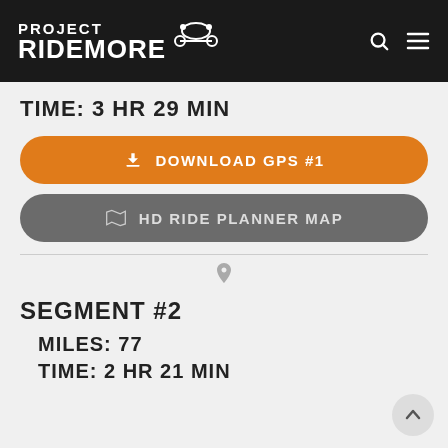PROJECT RIDEMORE
TIME: 3 HR 29 MIN
DOWNLOAD GPS #1
HD RIDE PLANNER MAP
SEGMENT #2
MILES: 77
TIME: 2 HR 21 MIN